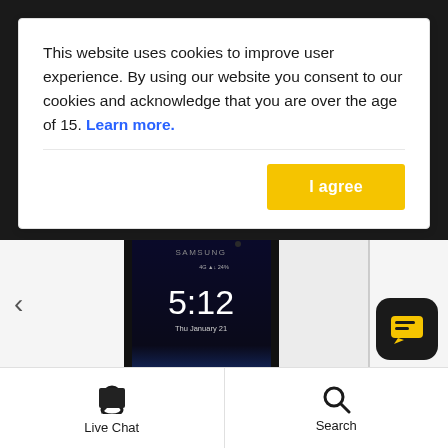This website uses cookies to improve user experience. By using our website you consent to our cookies and acknowledge that you are over the age of 15. Learn more.
[Figure (screenshot): Samsung Galaxy S7 smartphone with a tempered glass screen protector displayed in front of it, shown at an angle on a light gray background. The phone screen shows time 5:12, Thu January 21.]
Live Chat | Search